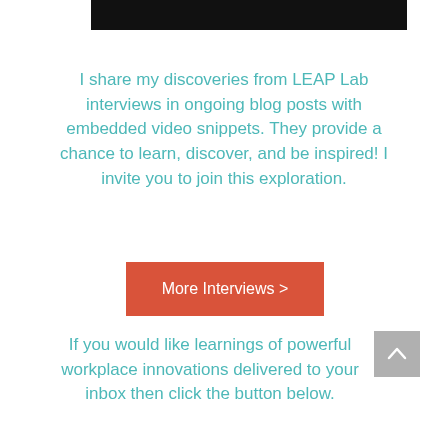[Figure (other): Black header bar/banner image at top of page]
I share my discoveries from LEAP Lab interviews in ongoing blog posts with embedded video snippets. They provide a chance to learn, discover, and be inspired! I invite you to join this exploration.
[Figure (other): Orange/red button with white text reading 'More Interviews >']
[Figure (other): Gray scroll-to-top button with upward chevron arrow]
If you would like learnings of powerful workplace innovations delivered to your inbox then click the button below.